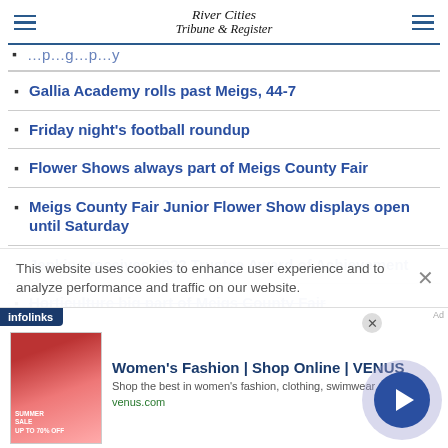River Cities Tribune & Register
Gallia Academy rolls past Meigs, 44-7
Friday night's football roundup
Flower Shows always part of Meigs County Fair
Meigs County Fair Junior Flower Show displays open until Saturday
Jenkins receives 2022 Trustee Award of Achievement
Horticulture big part of Meigs County Fair
This website uses cookies to enhance user experience and to analyze performance and traffic on our website.
[Figure (infographic): Advertisement for Women's Fashion | Shop Online | VENUS with thumbnail image and infolinks badge]